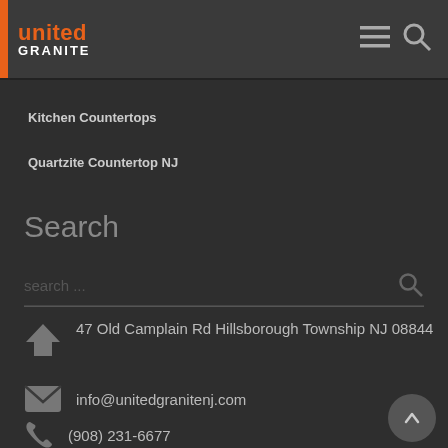united GRANITE
Kitchen Countertops
Quartzite Countertop NJ
Search
search ...
47 Old Camplain Rd Hillsborough Township NJ 08844
info@unitedgranitenj.com
(908) 231-6677